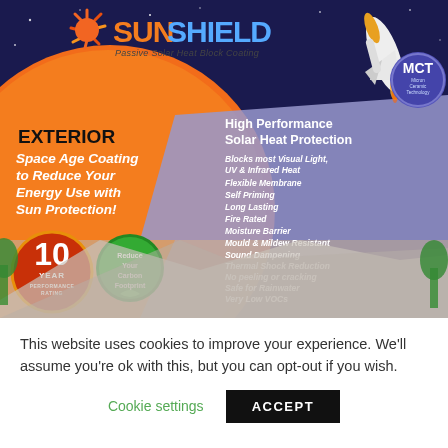[Figure (infographic): SunShield Passive Solar Heat Block Coating advertisement. Dark navy sky background with space shuttle illustration, orange arc, sun logo icon, SunShield brand name in orange/blue, rocket/shuttle graphic, MCT badge (Micron Ceramic Technology), 'Passive Solar Heat Block Coating' tagline. Left panel: EXTERIOR label, italic white text 'Space Age Coating to Reduce Your Energy Use with Sun Protection!', red 10 YEAR PERFORMANCE RATING circular badge, green 'Reduce Your Carbon Footprint' circular badge. Right panel: 'High Performance Solar Heat Protection' header, list of features. House roof and trees visible at bottom.]
This website uses cookies to improve your experience. We'll assume you're ok with this, but you can opt-out if you wish.
Cookie settings
ACCEPT